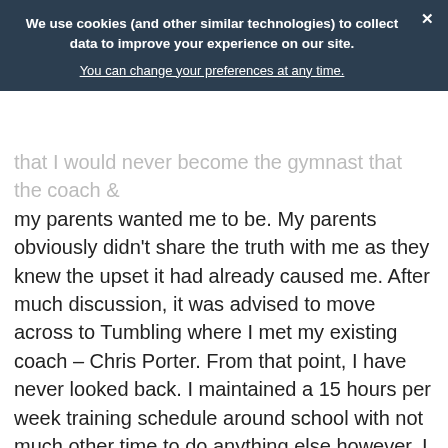We use cookies (and other similar technologies) to collect data to improve your experience on our site. You can change your preferences at any time. ×
that I would never become the gymnast that the coach & my parents wanted me to be. My parents obviously didn't share the truth with me as they knew the upset it had already caused me. After much discussion, it was advised to move across to Tumbling where I met my existing coach – Chris Porter. From that point, I have never looked back. I maintained a 15 hours per week training schedule around school with not much other time to do anything else however, I loved gymnastics so at that age, it was no sacrifice. I developed a real love for Tumbling & my coach really invested in me by ensuring I was constantly working on getting the basics right. I had great success in many competitions from the start but my first hurdle came when I had qualified to compete in my first British Championships at 9 years old. It was the biggest competition I had competed in so far & was at the NIA, Birmingham. I was so excited!! The preliminary stages of the competition were great but I allowed the pressure to